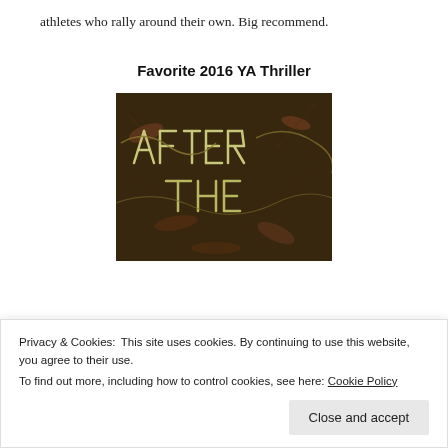athletes who rally around their own. Big recommend.
Favorite 2016 YA Thriller
[Figure (photo): Book cover image showing the title 'AFTER THE' with stylized branch/twig lettering over a dark forest floor background.]
Privacy & Cookies: This site uses cookies. By continuing to use this website, you agree to their use.
To find out more, including how to control cookies, see here: Cookie Policy
Close and accept